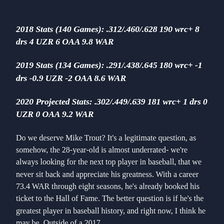2018 Stats (140 Games): .312/.460/.628 190 wrc+ 8 drs 4 UZR 6 OAA 9.8 WAR
2019 Stats (134 Games): .291/.438/.645 180 wrc+ -1 drs -0.9 UZR -2 OAA 8.6 WAR
2020 Projected Stats: .302/.449/.639 181 wrc+ 1 drs 0 UZR 0 OAA 9.2 WAR
Do we deserve Mike Trout? It’s a legitimate question, as somehow, the 28-year-old is almost underrated- we’re always looking for the next top player in baseball, that we never sit back and appreciate his greatness. With a career 73.4 WAR through eight seasons, he’s already booked his ticket to the Hall of Fame. The better question is if he’s the greatest player in baseball history, and right now, I think he may be. Outside of a 2017